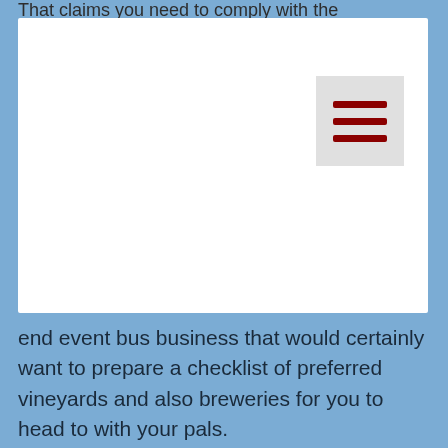That claims you need to comply with the
[Figure (screenshot): White box containing a hamburger menu icon (three dark red horizontal lines) on a light gray button background]
end event bus business that would certainly want to prepare a checklist of preferred vineyards and also breweries for you to head to with your pals.
Work With A Celebration Bus When You Go Club Hopping
Club jumping with your pals is enjoyable, yet it can be terrible when you need to maintain flagging down taxis to